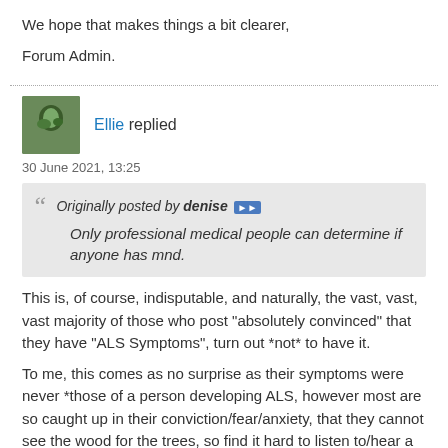We hope that makes things a bit clearer,
Forum Admin.
Ellie replied
30 June 2021, 13:25
Originally posted by denise  Only professional medical people can determine if anyone has mnd.
This is, of course, indisputable, and naturally, the vast, vast, vast majority of those who post "absolutely convinced" that they have "ALS Symptoms", turn out *not* to have it.
To me, this comes as no surprise as their symptoms were never *those of a person developing ALS, however most are so caught up in their conviction/fear/anxiety, that they cannot see the wood for the trees, so find it hard to listen to/hear a rational and logical rejection of their thesis and cannot seem to let it go and are not satisfied by being told, after testing, that they do not have an MND.